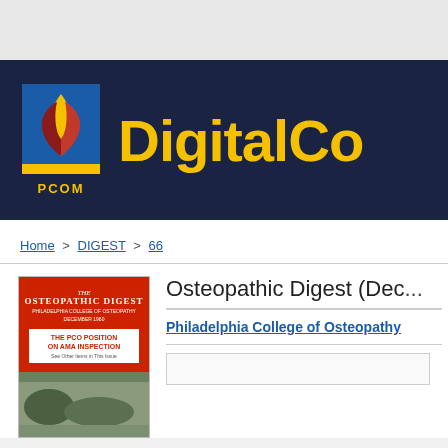DigitalCo
[Figure (logo): PCOM flame logo on blue/yellow background with text PCOM]
Home > DIGEST > 66
Osteopathic Digest (Dec...
[Figure (photo): Cover of The Osteopathic Digest, Philadelphia College of Osteopathy, showing text THE PCO POSITION ON AMA INSPECTION and a landscape photo]
Philadelphia College of Osteopathy